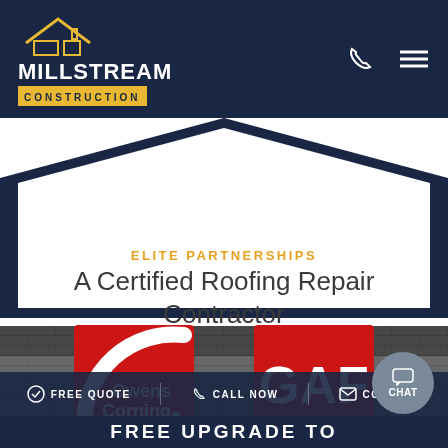[Figure (logo): Millstream Construction logo with house/roof icon and gold badge on dark navy background]
ELITE PARTNERSHIPS
A Certified Roofing Repair Contractor
[Figure (logo): Owens Corning logo - red square with white arc and Owens Corning text]
[Figure (logo): GAF logo - red square with white GAF text]
[Figure (photo): Close-up photograph of dark grey asphalt roof shingles]
FREE QUOTE   CALL NOW   CONTACT
FREE UPGRADE TO